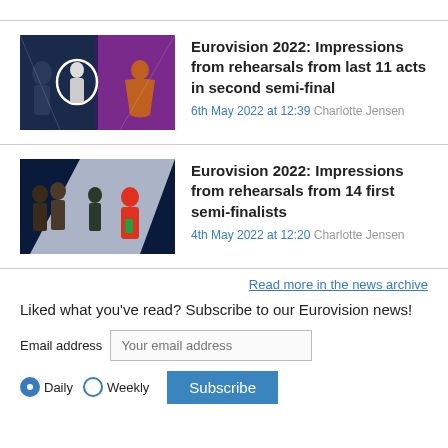[Figure (photo): Eurovision 2022 rehearsal stage photo with performers in purple/blue lighting]
Eurovision 2022: Impressions from rehearsals from last 11 acts in second semi-final
6th May 2022 at 12:39 Charlotte Jensen
[Figure (photo): Eurovision 2022 rehearsal stage photo with dancers in colorful costumes]
Eurovision 2022: Impressions from rehearsals from 14 first semi-finalists
4th May 2022 at 12:20 Charlotte Jensen
Read more in the news archive
Liked what you've read? Subscribe to our Eurovision news!
Email address Your email address
Daily Weekly Subscribe